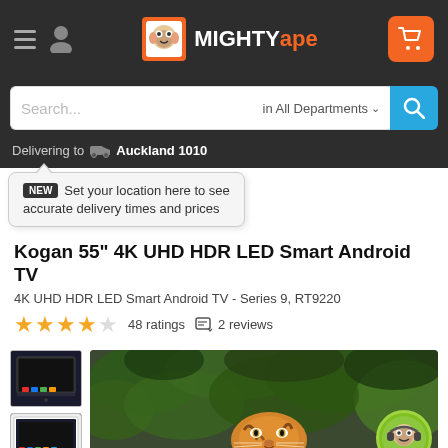Mighty Ape - navigation header with hamburger menu, user icon, logo, and cart button
Search... in All Departments
Delivering to Auckland 1010
NEW Set your location here to see accurate delivery times and prices
Kogan 55" 4K UHD HDR LED Smart Android TV
4K UHD HDR LED Smart Android TV - Series 9, RT9220
48 ratings  2 reviews
[Figure (photo): Thumbnail image of a Smart TV with app icons]
[Figure (photo): Second thumbnail of Smart TV]
[Figure (photo): Main product image showing a tiger in a jungle displayed on a large TV screen, with a Mighty Ape monkey customer service icon in the bottom right]